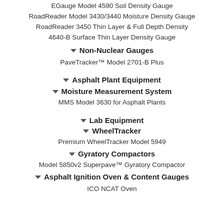EGauge Model 4590 Soil Density Gauge
RoadReader Model 3430/3440 Moisture Density Gauge
RoadReader 3450 Thin Layer & Full Depth Density
4640-B Surface Thin Layer Density Gauge
Non-Nuclear Gauges
PaveTracker™ Model 2701-B Plus
Asphalt Plant Equipment
Moisture Measurement System
MMS Model 3630 for Asphalt Plants
Lab Equipment
WheelTracker
Premium WheelTracker Model 5949
Gyratory Compactors
Model 5850v2 Superpave™ Gyratory Compactor
Asphalt Ignition Oven & Content Gauges
ICO NCAT Oven